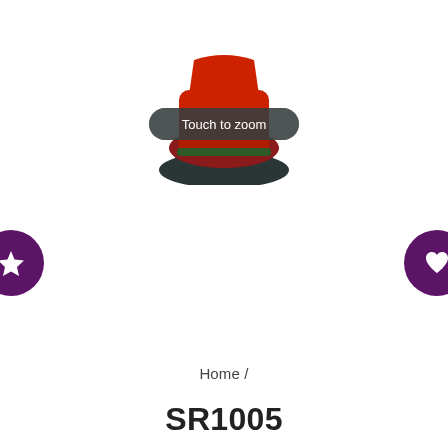[Figure (photo): Partial view of a religious figurine wearing red robes, showing the lower torso and base on a dark pedestal. A dark semi-transparent 'Touch to zoom' badge overlays the image.]
Home /
SR1005